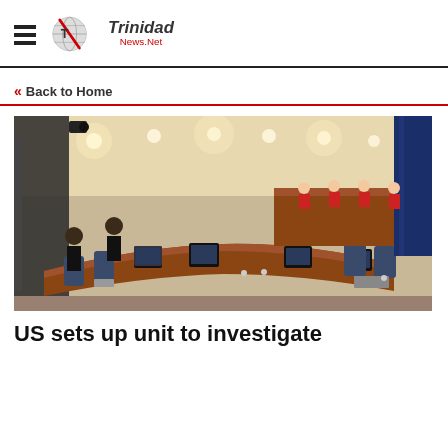Trinidad News.Net
« Back to Home
[Figure (photo): Wide-angle photo of a formal courtroom or tribunal chamber with a large curved wooden desk, multiple computer monitors, chairs, ceiling lights, and judges/officials seated at an elevated bench at the front. Blue curtains visible in the background.]
US sets up unit to investigate